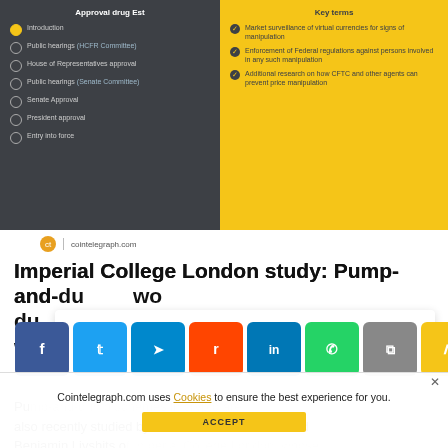[Figure (screenshot): Infographic screenshot showing two panels: left dark panel titled 'Approval drug Est' listing legislative steps (Introduction, Public hearings HCFR Committee, House of Representatives approval, Public hearings Senate Committee, Senate Approval, President approval, Entry into force); right yellow panel titled 'Key terms' listing bullet points about market surveillance of virtual currencies, enforcement of Federal regulations, and additional CFTC research.]
cointelegraph.com
Imperial College London study: Pump-and-dump schemes in crypto markets worsen globally
[Figure (screenshot): Social media share buttons: Facebook, Twitter, Telegram, Reddit, LinkedIn, WhatsApp, Copy, and scroll-up button.]
Pump-and-dump schemes in crypto are also recently studied by researchers Jiahua Xu and Benjamin Livshits of Imperial College London, whose paper was published in late November
Cointelegraph.com uses Cookies to ensure the best experience for you.